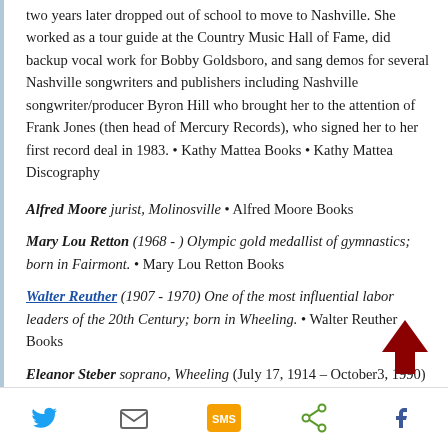two years later dropped out of school to move to Nashville. She worked as a tour guide at the Country Music Hall of Fame, did backup vocal work for Bobby Goldsboro, and sang demos for several Nashville songwriters and publishers including Nashville songwriter/producer Byron Hill who brought her to the attention of Frank Jones (then head of Mercury Records), who signed her to her first record deal in 1983. • Kathy Mattea Books • Kathy Mattea Discography
Alfred Moore jurist, Molinosville • Alfred Moore Books
Mary Lou Retton (1968 - ) Olympic gold medallist of gymnastics; born in Fairmont. • Mary Lou Retton Books
Walter Reuther (1907 - 1970) One of the most influential labor leaders of the 20th Century; born in Wheeling. • Walter Reuther Books
Eleanor Steber soprano, Wheeling (July 17, 1914 – October3, 1990) was an American operatic soprano. Steber
[Figure (other): Dark red upward-pointing arrow icon for scroll to top]